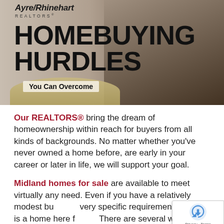[Figure (photo): Ayre/Rhinehart Realtors homebuying hurdles promotional image with people at a table in the background, bold headline text overlay, and subtitle 'You Can Overcome']
Our REALTORS® bring the dream of homeownership within reach for buyers from all kinds of backgrounds. No matter whether you've never owned a home before, are early in your career or later in life, we will support your goal.
Midland homes for sale are available to meet virtually any need. Even if you have a relatively modest budget or very specific requirements, there is a home here for you. There are several ways virtually anyone can make a home more attainable.